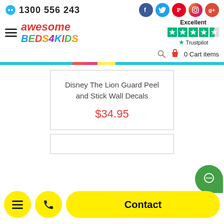1300 556 243
[Figure (logo): Awesome Beds 4 Kids logo with colorful text]
[Figure (other): Trustpilot Excellent rating with 4.5 stars]
0 Cart items
Disney The Lion Guard Peel and Stick Wall Decals
$34.95
Contact